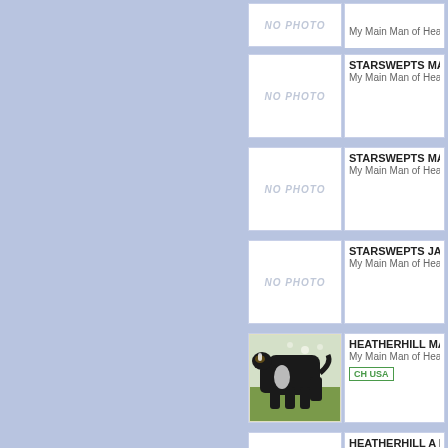[Figure (photo): NO PHOTO placeholder box, top entry partially visible]
NO PHOTO placeholder and partial entry info at top
[Figure (photo): NO PHOTO placeholder]
STARSWEPTS MARK... My Main Man of Heatherhill
[Figure (photo): NO PHOTO placeholder]
STARSWEPTS MAN A... My Main Man of Heatherhill
[Figure (photo): NO PHOTO placeholder]
STARSWEPTS JAZZM... My Main Man of Heatherhill
[Figure (photo): Photo of Australian Shepherd dog standing on grass]
HEATHERHILL MAK... My Main Man of Heatherhill
CH USA
[Figure (photo): NO PHOTO placeholder]
HEATHERHILL A BE... My Main Man of Heatherhill
CH ASCA
[Figure (photo): NO PHOTO placeholder, partially visible]
HISAW A BEAR, DL48... My Main Man of Heatherhill